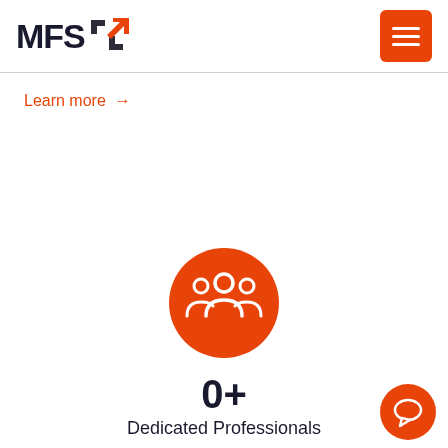MFS
Learn more →
[Figure (illustration): Orange circle with white group/people icon representing a team or professionals]
0+
Dedicated Professionals
[Figure (illustration): Orange circle chat bubble button in bottom right corner]